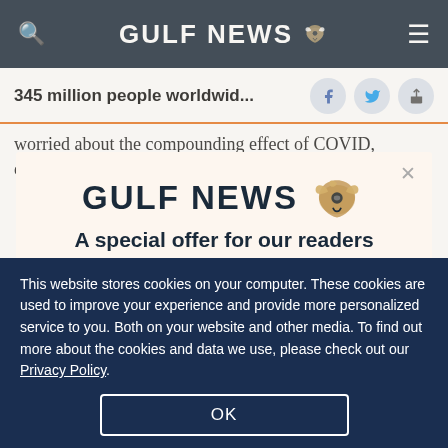GULF NEWS
345 million people worldwid...
worried about the compounding effect of COVID, climate change and the war in Ukraine" she said
[Figure (logo): Gulf News logo with eagle emblem and text 'A special offer for our readers. Get the two years All-Access subscription now']
This website stores cookies on your computer. These cookies are used to improve your experience and provide more personalized service to you. Both on your website and other media. To find out more about the cookies and data we use, please check out our Privacy Policy.